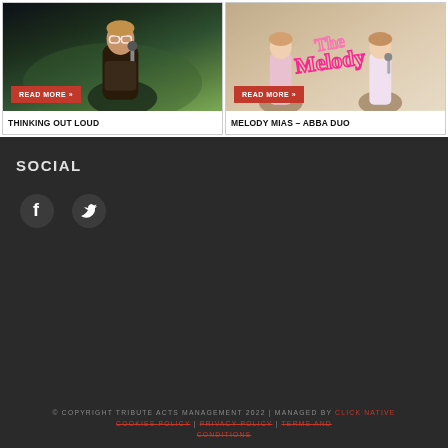[Figure (photo): Left card showing a male singer performing with a microphone, wearing glasses, dark background with stage lighting, with a red READ MORE button]
THINKING OUT LOUD
[Figure (photo): Right card showing two female performers on stage with pink neon 'The Melody' text visible in background, with a red READ MORE button]
MELODY MIAS – ABBA DUO
SOCIAL
[Figure (infographic): Facebook and Twitter social media icons]
© COPYRIGHT TRIBUTE ACTS MANAGEMENT 2022 | MANAGED BY CLICK NATIVE
COOKIES POLICY | PRIVACY POLICY | TERMS AND CONDITIONS